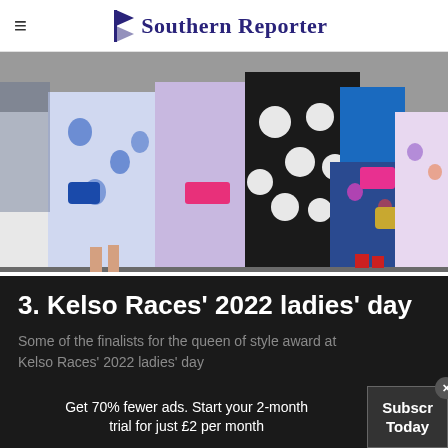Southern Reporter
[Figure (photo): Group of women dressed in colourful outfits — blue floral dress, lavender suit, black and white polka dot dress, blue top with floral skirt, floral print — posing together at Kelso Races ladies' day 2022.]
3. Kelso Races' 2022 ladies' day
Some of the finalists for the queen of style award at Kelso Races' 2022 ladies' day
Get 70% fewer ads. Start your 2-month trial for just £2 per month